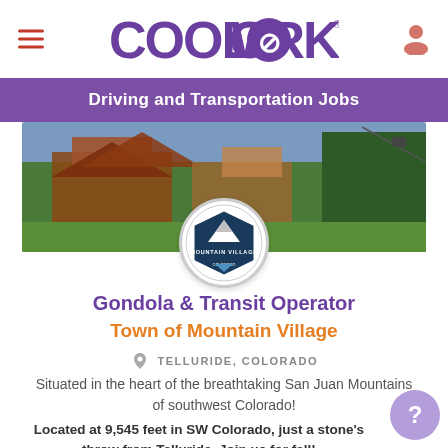CoolWorks
Driving and Transportation Jobs
[Figure (photo): Mountain Village resort photo with alpine buildings and trees]
[Figure (logo): Town of Mountain Village circular logo badge]
Gondola & Transit Operator
Town of Mountain Village
TELLURIDE, COLORADO
Situated in the heart of the breathtaking San Juan Mountains of southwest Colorado!
Located at 9,545 feet in SW Colorado, just a stone's throw from Telluride. Join us for fall!